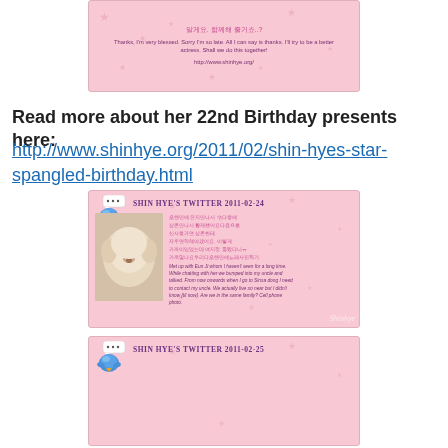[Figure (photo): Pink fan card with Korean and English text, stars background, and a URL for shinhye.org]
Read more about her 22nd Birthday presents here:
http://www.shinhye.org/2011/02/shin-hyes-star-spangled-birthday.html
[Figure (photo): Shin Hye's Twitter card dated 2011-02-24, featuring a white fluffy dog photo, Korean text and English translation, with blue bird mascot and speech bubble, pink background with stars]
[Figure (photo): Shin Hye's Twitter card dated 2011-02-25, pink background with stars and blue bird mascot (partially visible)]